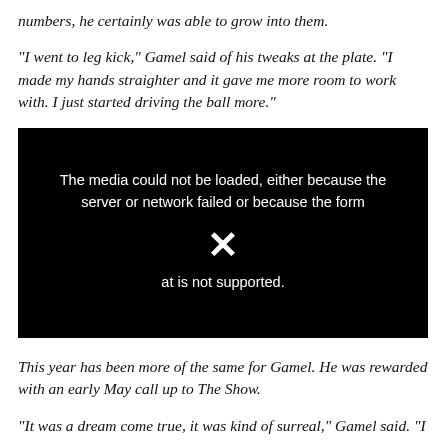numbers, he certainly was able to grow into them.
"I went to leg kick," Gamel said of his tweaks at the plate. "I made my hands straighter and it gave me more room to work with. I just started driving the ball more."
[Figure (screenshot): Black video player error box with white text reading: 'The media could not be loaded, either because the server or network failed or because the format is not supported.' An X icon is displayed below the text.]
This year has been more of the same for Gamel. He was rewarded with an early May call up to The Show.
"It was a dream come true, it was kind of surreal," Gamel said. "I